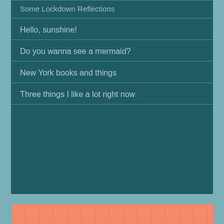Some Lockdown Reflections
Hello, sunshine!
Do you wanna see a mermaid?
New York books and things
Three things I like a lot right now
[Figure (other): Orange grid-paper textured box with handwritten-style italic text 'on the facebook']
[Figure (other): Pink/salmon colored box at bottom, partially visible]